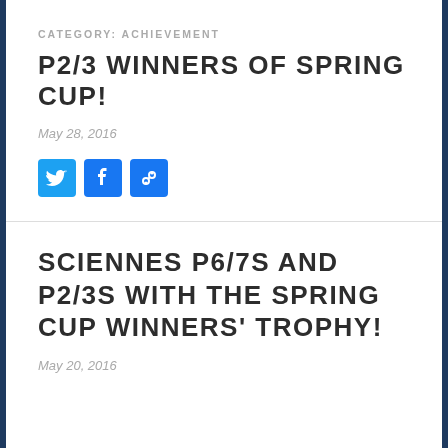CATEGORY: ACHIEVEMENT
P2/3 WINNERS OF SPRING CUP!
May 28, 2016
[Figure (infographic): Three social sharing buttons: Twitter (blue bird icon), Facebook (blue f icon), and a link/share icon (blue)]
SCIENNES P6/7S AND P2/3S WITH THE SPRING CUP WINNERS' TROPHY!
May 20, 2016